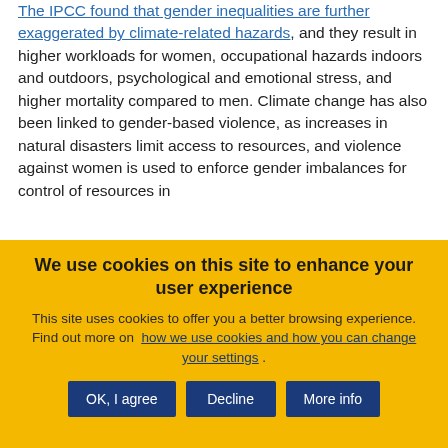The IPCC found that gender inequalities are further exaggerated by climate-related hazards, and they result in higher workloads for women, occupational hazards indoors and outdoors, psychological and emotional stress, and higher mortality compared to men. Climate change has also been linked to gender-based violence, as increases in natural disasters limit access to resources, and violence against women is used to enforce gender imbalances for control of resources in
We use cookies on this site to enhance your user experience
This site uses cookies to offer you a better browsing experience. Find out more on how we use cookies and how you can change your settings.